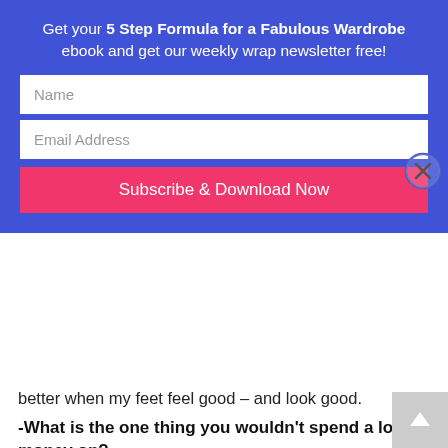[Figure (screenshot): Email subscription popup banner with blue background. Contains text: 'Get your 5 Step Formula for a Fabulous Wardrobe ebook and get our weekly wrap newsletter free!' with Name and Email Address input fields and a pink 'Subscribe & Download Now' button. A circular close (X) button appears on the right side.]
better when my feet feel good – and look good.
-What is the one thing you wouldn’t spend a lot of money on?
If I buy new trends in clothes I spend little until I can see they really suit my body and work well in my wardrobe.
– How do you balance new trends with a more timeless look?
I’m always paying attention to what is trending and